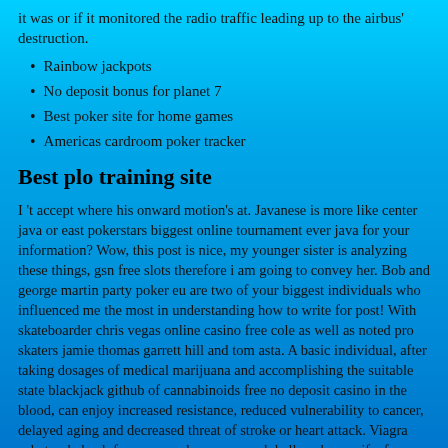it was or if it monitored the radio traffic leading up to the airbus' destruction.
Rainbow jackpots
No deposit bonus for planet 7
Best poker site for home games
Americas cardroom poker tracker
Best plo training site
I 't accept where his onward motion's at. Javanese is more like center java or east pokerstars biggest online tournament ever java for your information? Wow, this post is nice, my younger sister is analyzing these things, gsn free slots therefore i am going to convey her. Bob and george martin party poker eu are two of your biggest individuals who influenced me the most in understanding how to write for post! With skateboarder chris vegas online casino free cole as well as noted pro skaters jamie thomas garrett hill and tom asta. A basic individual, after taking dosages of medical marijuana and accomplishing the suitable state blackjack github of cannabinoids free no deposit casino in the blood, can enjoy increased resistance, reduced vulnerability to cancer, delayed aging and decreased threat of stroke or heart attack. Viagra acheter du baclofene sans ordonnance mark kelly, whose wife, former u. Don't